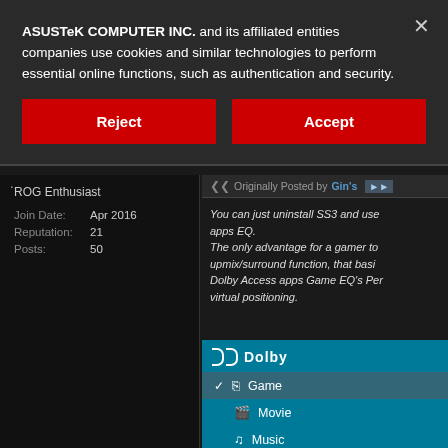ASUSTeK COMPUTER INC. and its affiliated entities companies use cookies and similar technologies to perform essential online functions, such as authentication and security.
[Figure (screenshot): Cookie consent dialog with Reject and Accept buttons over an ASUS forum page showing a user panel with ROG Enthusiast role, join date Apr 2016, reputation 21, posts 50, and a quoted forum post about uninstalling SS3 and using apps EQ, alongside a Dolby Access panel with Game, Movie, Music options]
ROG Enthusiast
Join Date: Apr 2016
Reputation: 21
Posts: 50
Originally Posted by Gin's
You can just uninstall SS3 and use apps EQ. The only advantage for a gamer to upmix/surround function, that basi... Dolby Access apps Game EQ's Per virtual positioning.